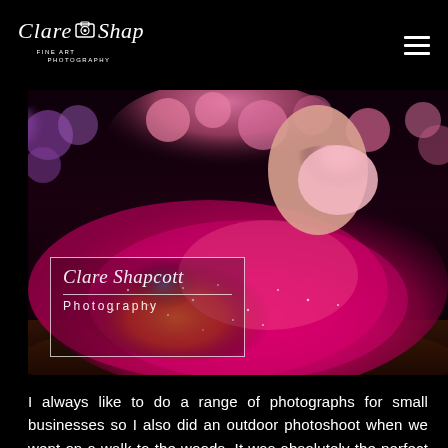Clare Shapcott Fine Art Photography — navigation menu
[Figure (photo): Close-up photograph of a child wearing a vibrant multicolored tutu (pink, magenta, orange, yellow, blue) with sparkle details, surrounded by pink and purple flowers on a dark wood surface. A Clare Shapcott Photography watermark/logo overlay is visible in the lower-left of the image.]
I always like to do a range of photographs for small businesses so I also did an outdoor photoshoot when we went on a walk to the woods. It was absolutely the perfect tutu for outdoor photos. Most tutus would probably go unnoticed, but not this one, with all it's